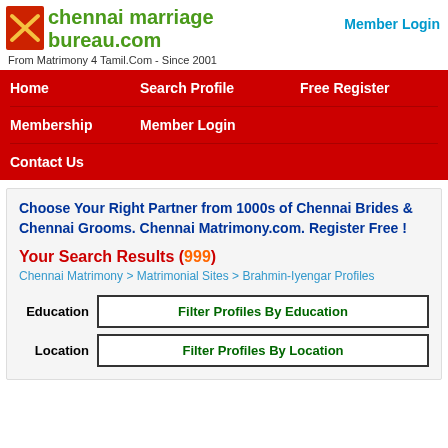chennai marriage bureau.com
From Matrimony 4 Tamil.Com - Since 2001
Member Login
Home
Search Profile
Free Register
Membership
Member Login
Contact Us
Choose Your Right Partner from 1000s of Chennai Brides & Chennai Grooms. Chennai Matrimony.com. Register Free !
Your Search Results (999)
Chennai Matrimony > Matrimonial Sites > Brahmin-Iyengar Profiles
Education   Filter Profiles By Education
Location   Filter Profiles By Location